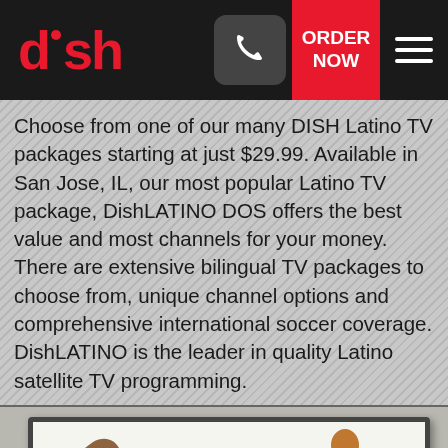dish | ORDER NOW | Call icon | Menu
Choose from one of our many DISH Latino TV packages starting at just $29.99. Available in San Jose, IL, our most popular Latino TV package, DishLATINO DOS offers the best value and most channels for your money. There are extensive bilingual TV packages to choose from, unique channel options and comprehensive international soccer coverage. DishLATINO is the leader in quality Latino satellite TV programming.
[Figure (photo): Television screen showing silhouette of a person seated, with a large decorative bird/wing shape on the left side, shown against a white background inside a TV frame]
Call Today & Save 1-888-291-7119